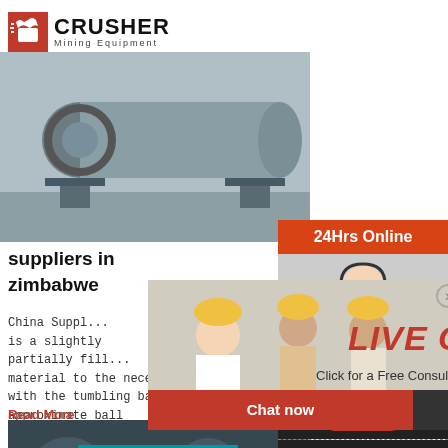[Figure (logo): Crusher Mining Equipment logo with red shopping bag icon and bold CRUSHER text]
[Figure (photo): Large grey ball mill / grinding machine on factory floor]
suppliers in zimbabwe
China Suppl... is a slightly partially fill... material to the necessary fineness by friction and with the tumbling balls. Ball mills normally opera... approximate ball
Read More
[Figure (photo): Second industrial machine / ball mill equipment photo]
[Figure (photo): Right sidebar: 24Hrs Online orange header with customer service representative photo]
Need questions & suggestion?
Chat Now
Enquiry
limingjlmofen@sina.com
[Figure (photo): Live Chat popup overlay with people in hard hats, LIVE CHAT text, Chat now and Chat later buttons]